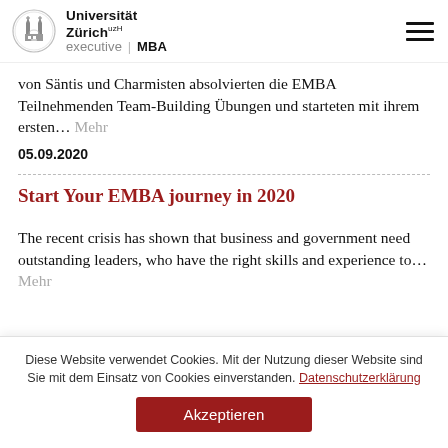Universität Zürich UZH executive | MBA
Von Säntis und Charmisten absolvierten die EMBA Teilnehmenden Team-Building Übungen und starteten mit ihrem ersten… Mehr
05.09.2020
Start Your EMBA journey in 2020
The recent crisis has shown that business and government need outstanding leaders, who have the right skills and experience to… Mehr
Diese Website verwendet Cookies. Mit der Nutzung dieser Website sind Sie mit dem Einsatz von Cookies einverstanden. Datenschutzerklärung
Akzeptieren